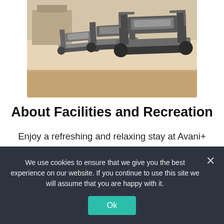[Figure (photo): Photo of a gym interior showing multiple treadmill machines in a row on a wooden floor with equipment visible in the background]
About Facilities and Recreation
Enjoy a refreshing and relaxing stay at Avani+ Riverside Bangkok Hotel. Take in stunning uninterrupted views of the river and city skyline from the rooftop 25-metre infinity swimming pool. Enjoy an energetic session at the fully equipped gym, AvaniFit. The hotel's location means you are
We use cookies to ensure that we give you the best experience on our website. If you continue to use this site we will assume that you are happy with it.